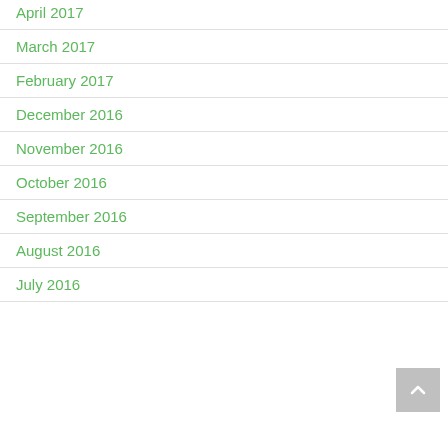April 2017
March 2017
February 2017
December 2016
November 2016
October 2016
September 2016
August 2016
July 2016